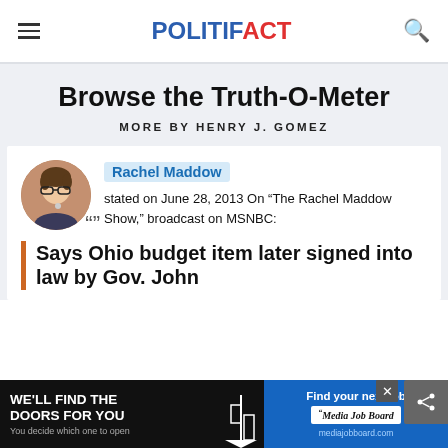POLITIFACT
Browse the Truth-O-Meter
MORE BY HENRY J. GOMEZ
Rachel Maddow stated on June 28, 2013 On “The Rachel Maddow Show,” broadcast on MSNBC:
Says Ohio budget item later signed into law by Gov. John